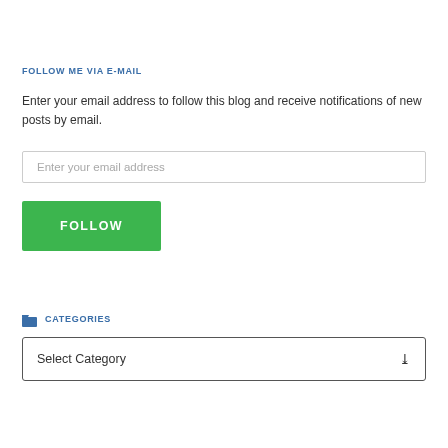FOLLOW ME VIA E-MAIL
Enter your email address to follow this blog and receive notifications of new posts by email.
[Figure (other): Email input field with placeholder text 'Enter your email address']
[Figure (other): Green FOLLOW button]
CATEGORIES
[Figure (other): Dropdown select box with 'Select Category' and a chevron arrow]